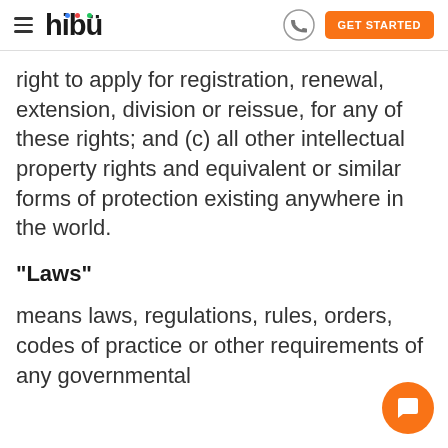hibu — GET STARTED
right to apply for registration, renewal, extension, division or reissue, for any of these rights; and (c) all other intellectual property rights and equivalent or similar forms of protection existing anywhere in the world.
"Laws"
means laws, regulations, rules, orders, codes of practice or other requirements of any governmental